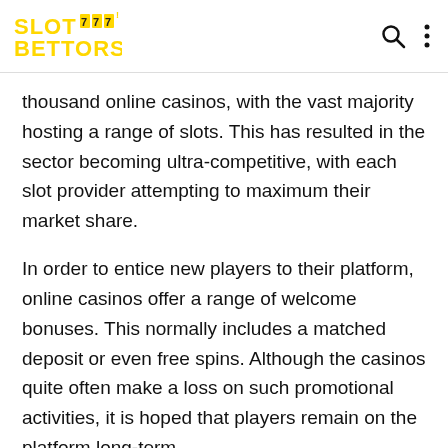Slot Bettors logo with search and menu icons
thousand online casinos, with the vast majority hosting a range of slots. This has resulted in the sector becoming ultra-competitive, with each slot provider attempting to maximum their market share.
In order to entice new players to their platform, online casinos offer a range of welcome bonuses. This normally includes a matched deposit or even free spins. Although the casinos quite often make a loss on such promotional activities, it is hoped that players remain on the platform long-term.
For those who are inexperienced with online slots, the process is very straight forward. Initially you will be required to open an account – which often takes no more